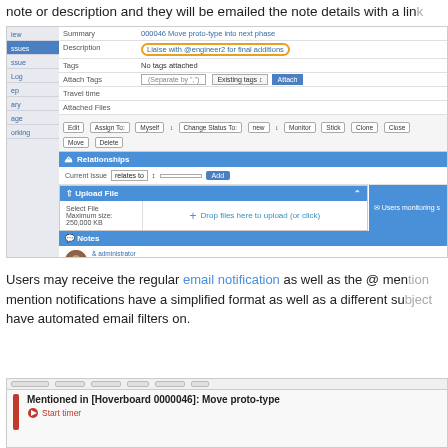note or description and they will be emailed the note details with a link
[Figure (screenshot): Screenshot of issue tracker showing fields: Summary, Description (with @engineer2 mention highlighted in orange oval), Tags, Attach Tags, Travel time, Attached Files, action buttons (Edit, Assign To, Myself, Change Status To, new, Monitor, Stick, Clone, Close, Move, Delete), Relationships section with Current Issue/relates to/Add, Upload File section with drop zone, and Notes section showing administrator note with @engineer3 mention highlighted.]
Users may receive the regular email notification as well as the @ mention notifications have a simplified format as well as a different subject line to help users that have automated email filters on.
[Figure (screenshot): Bottom screenshot showing toolbar buttons and a notification row with red bar indicator, text 'Mentioned in [Hoverboard 0000046]: Move proto-type' and Start timer button.]